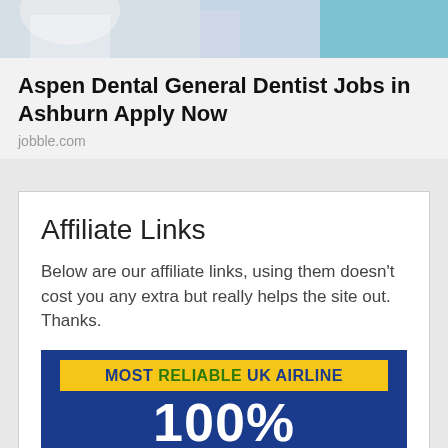[Figure (photo): Dental professionals in white coats and scrubs, cropped at top of page]
Aspen Dental General Dentist Jobs in Ashburn Apply Now
jobble.com
Affiliate Links
Below are our affiliate links, using them doesn't cost you any extra but really helps the site out. Thanks.
[Figure (infographic): Blue banner ad reading 'MOST RELIABLE UK AIRLINE' in yellow box, with '100%' in large white text below on dark blue background]